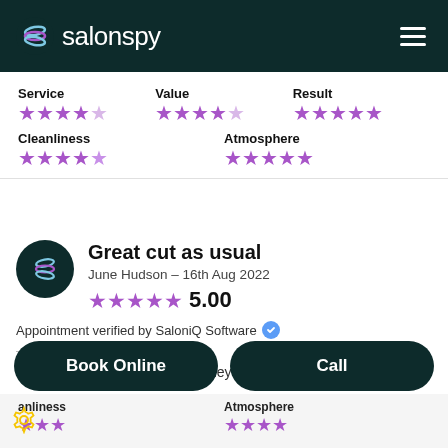salonspy
| Category | Stars |
| --- | --- |
| Service | 4/5 |
| Value | 3.5/5 |
| Result | 4.5/5 |
| Cleanliness | 4.5/5 |
| Atmosphere | 5/5 |
Great cut as usual
June Hudson - 16th Aug 2022
5.00
Appointment verified by SaloniQ Software
The cut is always perfect, and they're always on time .